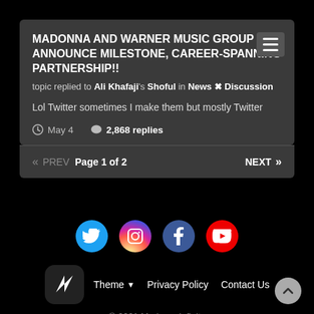MADONNA AND WARNER MUSIC GROUP ANNOUNCE MILESTONE, CAREER-SPANNING PARTNERSHIP!!
topic replied to Ali Khafaji's Shoful in News ✖ Discussion
Lol Twitter sometimes I make them but mostly Twitter
May 4   2,868 replies
« PREV   Page 1 of 2   NEXT »
[Figure (logo): Social media icons: Twitter, Instagram, Facebook, YouTube]
[Figure (logo): MadonnaInfinity logo mark in dark box]
Theme ▼   Privacy Policy   Contact Us
© 2021 MadonnaInfinity